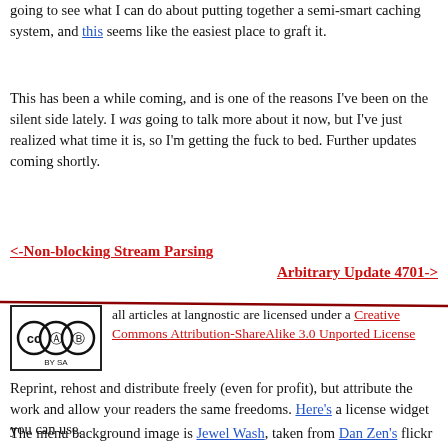going to see what I can do about putting together a semi-smart caching system, and this seems like the easiest place to graft it.
This has been a while coming, and is one of the reasons I've been on the silent side lately. I was going to talk more about it now, but I've just realized what time it is, so I'm getting the fuck to bed. Further updates coming shortly.
<-Non-blocking Stream Parsing
Arbitrary Update 4701->
[Figure (logo): Creative Commons BY-SA license badge icon]
all articles at langnostic are licensed under a Creative Commons Attribution-ShareAlike 3.0 Unported License
Reprint, rehost and distribute freely (even for profit), but attribute the work and allow your readers the same freedoms. Here's a license widget you can use.
The menu background image is Jewel Wash, taken from Dan Zen's flickr stream and released under a CC-BY license